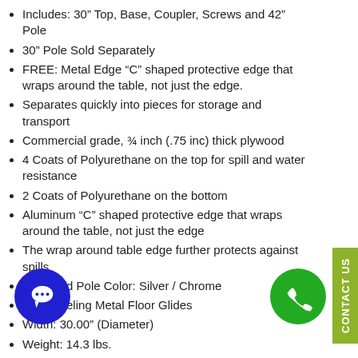Includes: 30” Top, Base, Coupler, Screws and 42” Pole
30” Pole Sold Separately
FREE: Metal Edge “C” shaped protective edge that wraps around the table, not just the edge.
Separates quickly into pieces for storage and transport
Commercial grade, ¾ inch (.75 inc) thick plywood
4 Coats of Polyurethane on the top for spill and water resistance
2 Coats of Polyurethane on the bottom
Aluminum “C” shaped protective edge that wraps around the table, not just the edge
The wrap around table edge further protects against spills
Base and Pole Color: Silver / Chrome
Self-Leveling Metal Floor Glides
Width: 30.00” (Diameter)
Weight: 14.3 lbs.
Height after Assembly: 42.00” (Industry Standard Bar ht)
Height with Pole Sold Separately
Ships Unassembled
Warranty: 1 Year Limited Warranty